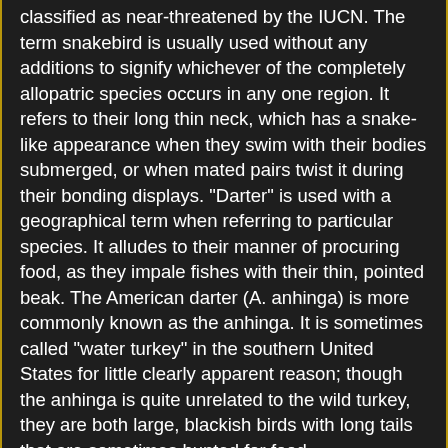classified as near-threatened by the IUCN. The term snakebird is usually used without any additions to signify whichever of the completely allopatric species occurs in any one region. It refers to their long thin neck, which has a snake-like appearance when they swim with their bodies submerged, or when mated pairs twist it during their bonding displays. "Darter" is used with a geographical term when referring to particular species. It alludes to their manner of procuring food, as they impale fishes with their thin, pointed beak. The American darter (A. anhinga) is more commonly known as the anhinga. It is sometimes called "water turkey" in the southern United States for little clearly apparent reason; though the anhinga is quite unrelated to the wild turkey, they are both large, blackish birds with long tails that are sometimes hunted for food.
Anhinga is derived from the Tupi ajíŋa (also transcribed áyinga or ayingá), which in local mythology refers to a malevolent demonic forest spirit; it is often translated as "devil bird". The name changed to anhingá or anhangá as it was transferred to the Tupi–Portuguese Língua Geral. However, in its first documented use as an English term in 1818, it referred to an Old World darter. Ever since, it has